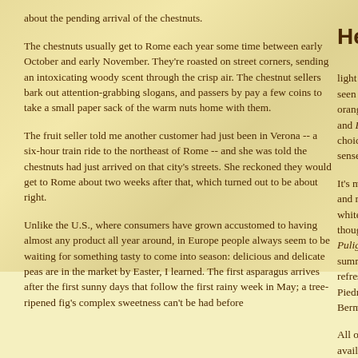about the pending arrival of the chestnuts.
The chestnuts usually get to Rome each year some time between early October and early November. They're roasted on street corners, sending an intoxicating woody scent through the crisp air. The chestnut sellers bark out attention-grabbing slogans, and passers by pay a few coins to take a small paper sack of the warm nuts home with them.
The fruit seller told me another customer had just been in Verona -- a six-hour train ride to the northeast of Rome -- and she was told the chestnuts had just arrived on that city's streets. She reckoned they would get to Rome about two weeks after that, which turned out to be about right.
Unlike the U.S., where consumers have grown accustomed to having almost any product all year around, in Europe people always seem to be waiting for something tasty to come into season: delicious and delicate peas are in the market by Easter, I learned. The first asparagus arrives after the first sunny days that follow the first rainy week in May;  a tree-ripened fig's complex sweetness can't be had before
Here
light ros seen on orange c and Bru choice f sense s
It's more and reds whites -- though a Puligny- summer refreshin Piedmo Bermud
All over available a stately